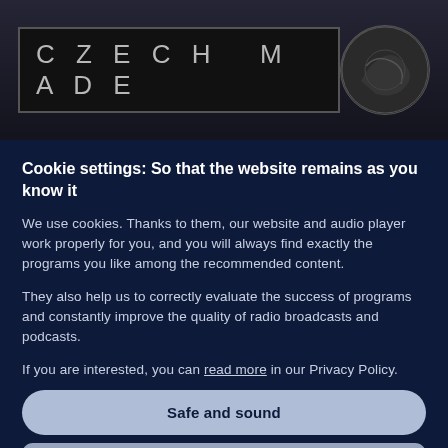[Figure (screenshot): Dark banner image showing 'CZECH MADE' text in a black box with large lettering on a dark background, and a circular coin/medal image on the right]
Cookie settings: So that the website remains as you know it
We use cookies. Thanks to them, our website and audio player work properly for you, and you will always find exactly the programs you like among the recommended content.
They also help us to correctly evaluate the success of programs and constantly improve the quality of radio broadcasts and podcasts.
If you are interested, you can read more in our Privacy Policy.
Safe and sound